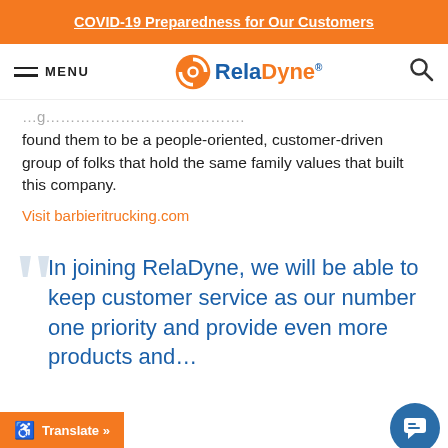COVID-19 Preparedness for Our Customers
MENU | RelaDyne | Search
found them to be a people-oriented, customer-driven group of folks that hold the same family values that built this company.
Visit barbieritrucking.com
In joining RelaDyne, we will be able to keep customer service as our number one priority and provide even more products and ... our loyal customers